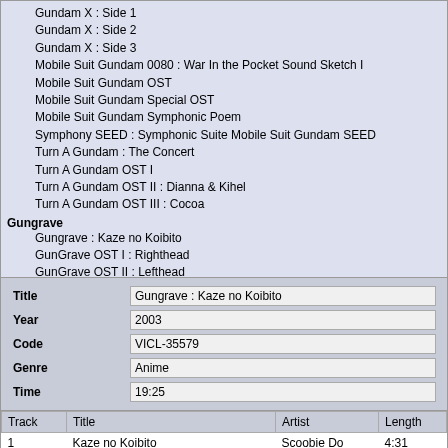Gundam X : Side 1
Gundam X : Side 2
Gundam X : Side 3
Mobile Suit Gundam 0080 : War In the Pocket Sound Sketch I
Mobile Suit Gundam OST
Mobile Suit Gundam Special OST
Mobile Suit Gundam Symphonic Poem
Symphony SEED : Symphonic Suite Mobile Suit Gundam SEED
Turn A Gundam : The Concert
Turn A Gundam OST I
Turn A Gundam OST II : Dianna & Kihel
Turn A Gundam OST III : Cocoa
Gungrave
Gungrave : Kaze no Koibito
GunGrave OST I : Righthead
GunGrave OST II : Lefthead
Gunslinger Girl
Gunslinger Girl OST
Gunslinger Girl Singles
Gunsmith Cats
Gunsmith Cats Image Album
| Field | Value |
| --- | --- |
| Title | Gungrave : Kaze no Koibito |
| Year | 2003 |
| Code | VICL-35579 |
| Genre | Anime |
| Time | 19:25 |
| Track | Title | Artist | Length |
| --- | --- | --- | --- |
| 1 | Kaze no Koibito | Scoobie Do | 4:31 |
| 2 | 3rd Season | Scoobie Do | 3:27 |
| 3 | Akaneiro ga Moeru Toki | Scoobie Do | 5:29 |
| 4 | Namorada do Vento (Freetempo echoed mix) | Scoobie Do | 5:58 |